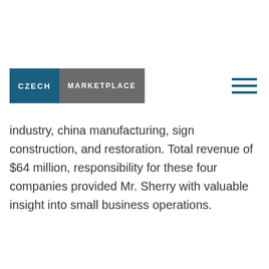[Figure (logo): Czech Marketplace logo with two-tone background: blue left panel with 'CZECH' text and grey right panel with 'MARKETPLACE' text]
industry, china manufacturing, sign construction, and restoration. Total revenue of $64 million, responsibility for these four companies provided Mr. Sherry with valuable insight into small business operations.